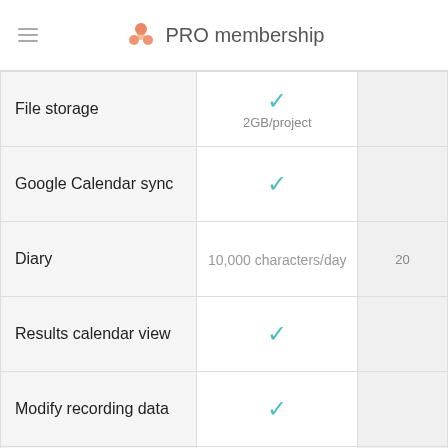PRO membership
| Feature | PRO |  |
| --- | --- | --- |
| File storage | ✓ 2GB/project |  |
| Google Calendar sync | ✓ |  |
| Diary | 10,000 characters/day | 20 |
| Results calendar view | ✓ |  |
| Modify recording data | ✓ |  |
| Create and share task templates | ✓ |  |
| Change tasks into a template | ✓ |  |